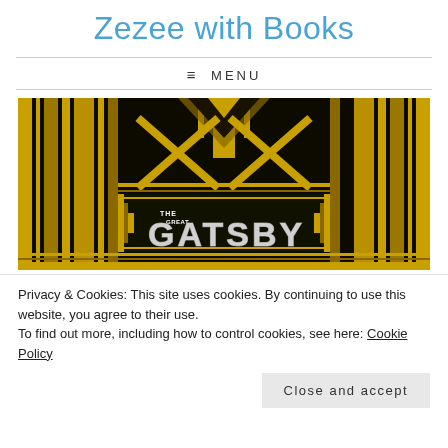Zezee with Books
≡ MENU
[Figure (illustration): Art Deco style promotional image for 'The Great Gatsby' movie with gold geometric patterns on black background and stylized text reading 'THE GREAT GATSBY']
Privacy & Cookies: This site uses cookies. By continuing to use this website, you agree to their use.
To find out more, including how to control cookies, see here: Cookie Policy
Close and accept